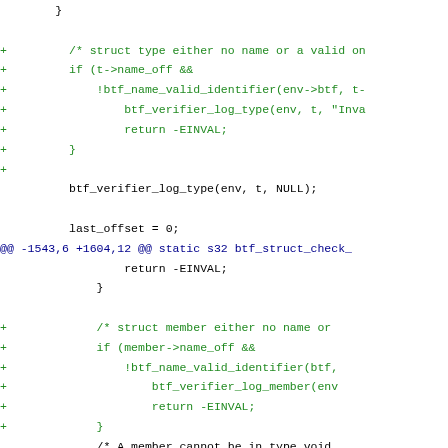Code diff showing additions to btf verifier functions including struct type name validation, struct member name validation, and enum type validation patches.